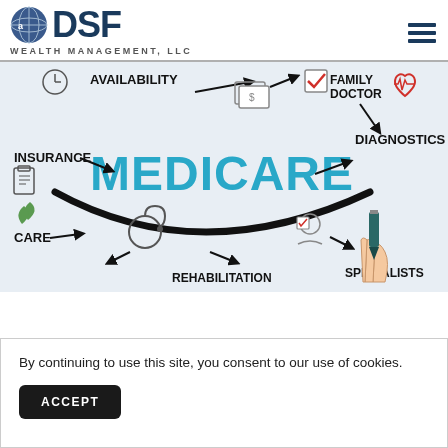[Figure (logo): DSF Wealth Management, LLC logo with globe icon and hamburger menu icon]
[Figure (illustration): Medicare mind-map infographic showing MEDICARE in large teal letters at center, with arrows pointing to: Insurance, Availability (partially visible), Family Doctor, Diagnostics, Care, Rehabilitation, Specialists. A hand holding a marker draws the underline arc. Various icons: clipboard, stethoscope, dollar bills, heart with ECG, leaves, doctor figure, checkbox.]
By continuing to use this site, you consent to our use of cookies.
ACCEPT